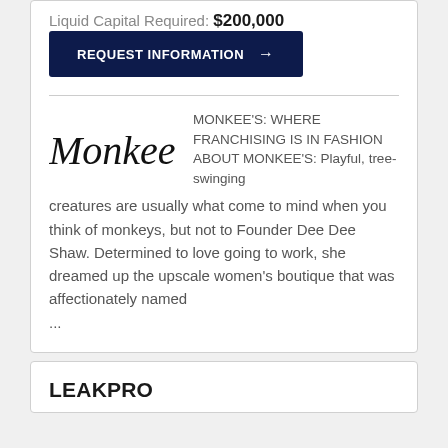Liquid Capital Required: $200,000
REQUEST INFORMATION →
[Figure (logo): Monkee's cursive script logo]
MONKEE'S: WHERE FRANCHISING IS IN FASHION   ABOUT MONKEE'S: Playful, tree-swinging creatures are usually what come to mind when you think of monkeys, but not to Founder Dee Dee Shaw. Determined to love going to work, she dreamed up the upscale women's boutique that was affectionately named ...
LEAKPRO